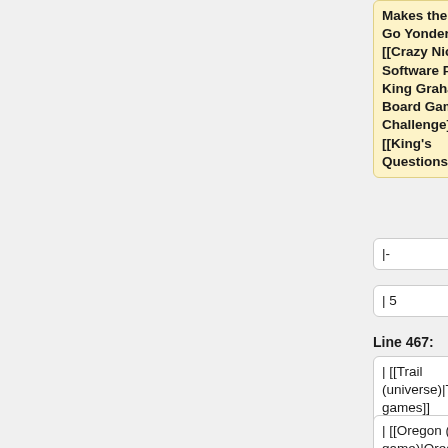Makes the Heart Go Yonder!]], [[Crazy Nick's Software Picks: King Graham's Board Game Challenge]], [[King's Questions]]
|-
|-
| 5
| 5
Line 467:
Line 491:
| [[Trail (universe)|Trail games]]
| [[Trail (universe)|Trail games]]
| [[Oregon (video game)|Oregon]] (1971), [[Expeditions]],
| [[Oregon (video game)|Oregon]] (1971), [[Expeditions]],